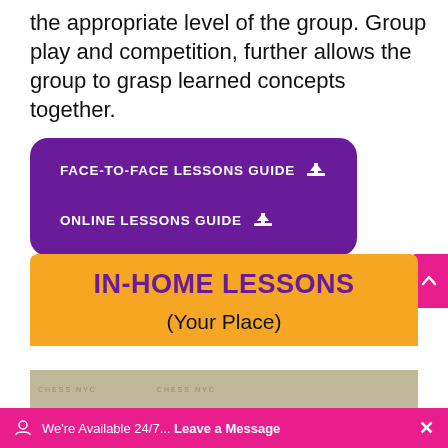the appropriate level of the group. Group play and competition, further allows the group to grasp learned concepts together.
[Figure (infographic): Two purple rounded buttons with download icons: 'FACE-TO-FACE LESSONS GUIDE' and 'ONLINE LESSONS GUIDE']
IN-HOME LESSONS
(Your Place)
[Figure (photo): Photo strip showing chess-related imagery with CHESS NYC branding]
We're Available 24/7... Leave a Message